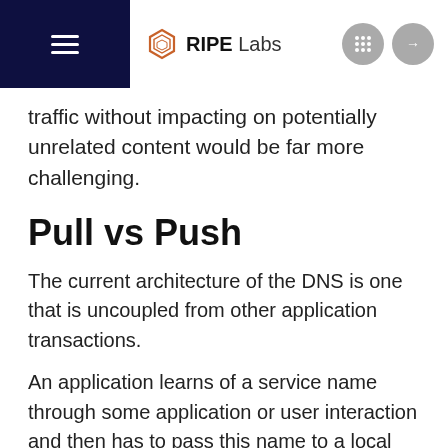RIPE Labs
traffic without impacting on potentially unrelated content would be far more challenging.
Pull vs Push
The current architecture of the DNS is one that is uncoupled from other application transactions.
An application learns of a service name through some application or user interaction and then has to pass this name to a local DNS stub resolver for the translation of the name into a service address. The DNS itself is a ‘pull’ response model, in that the DNS finds it difficult